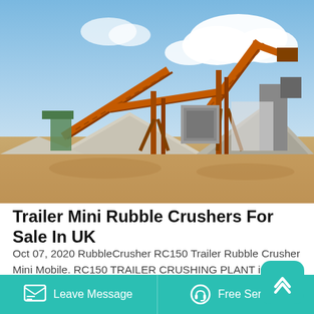[Figure (photo): Industrial rubble crushing plant with large orange conveyor belts and machinery, piles of crushed stone/gravel visible, blue sky with clouds in the background, dirt ground in the foreground.]
Trailer Mini Rubble Crushers For Sale In UK
Oct 07, 2020 RubbleCrusher RC150 Trailer Rubble Crusher Mini Mobile. RC150 TRAILER CRUSHING PLANT is designed and manufactured fully within the UK by rubble crusher a division of CMB International Ltd., one of the world's leading
Leave Message   Free Service